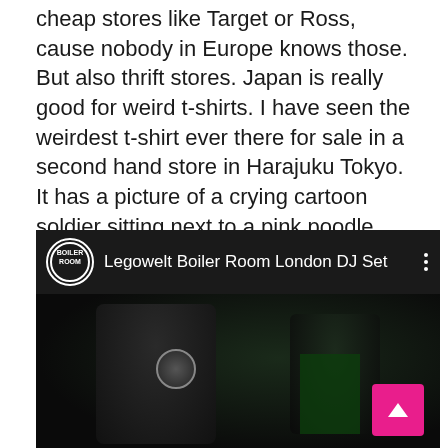cheap stores like Target or Ross, cause nobody in Europe knows those. But also thrift stores. Japan is really good for weird t-shirts. I have seen the weirdest t-shirt ever there for sale in a second hand store in Harajuku Tokyo. It has a picture of a crying cartoon soldier sitting next to a pink poodle dog and then it said underneath “Vietnam – I am so lonely but I am O.K.” I didn’t buy it cause it was like 50 euros.
[Figure (screenshot): Embedded YouTube video screenshot showing 'Legowelt Boiler Room London DJ Set' with a dark scene of a DJ performing, Boiler Room logo, and a pink scroll-to-top button.]